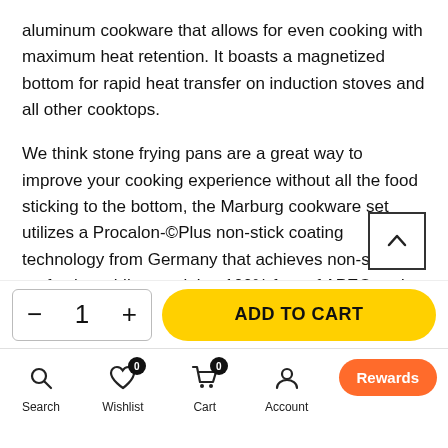aluminum cookware that allows for even cooking with maximum heat retention. It boasts a magnetized bottom for rapid heat transfer on induction stoves and all other cooktops.
We think stone frying pans are a great way to improve your cooking experience without all the food sticking to the bottom, the Marburg cookware set utilizes a Procalon-©Plus non-stick coating technology from Germany that achieves non-stick perfection while remaining 100% free of APEO and PFOA, and the lesser-known chemicals NMP and NEP. Plus, it provides exceptional food release, easy clean-up and long-lasting performance.
And, all pieces with soft touched ergonomic handles for con and durability, that stays cool to the touch to prevent injuries while
ADD TO CART
Search   Wishlist   Cart   Account   Shop   Rewards